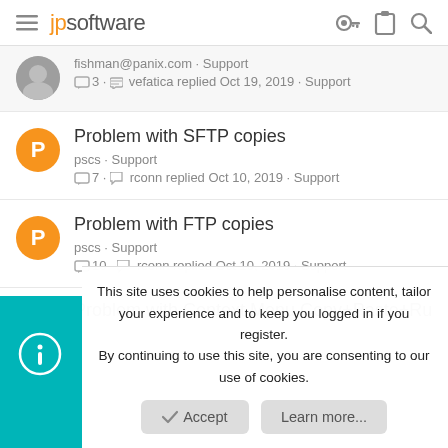jpsoftware
fishman@panix.com · Support
☐3 · ↩ vefatica replied Oct 19, 2019 · Support
Problem with SFTP copies
pscs · Support
☐7 · ↩ rconn replied Oct 10, 2019 · Support
Problem with FTP copies
pscs · Support
☐10 · ↩ rconn replied Oct 10, 2019 · Support
Problem with Context Menu Copy+Paste+Run
This site uses cookies to help personalise content, tailor your experience and to keep you logged in if you register.
By continuing to use this site, you are consenting to our use of cookies.
Accept   Learn more...